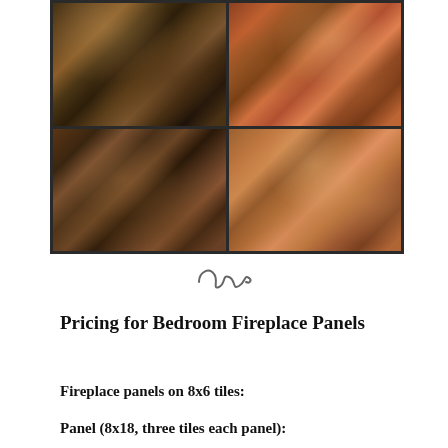[Figure (illustration): A 2x2 grid of painting tiles showing a classical figurative painting with mythological figures, nudes in dynamic poses set against a dark background with warm earthy tones of browns, golds, and oranges.]
[Figure (illustration): Decorative curly flourish / ornamental divider symbol]
Pricing for Bedroom Fireplace Panels
Fireplace panels on 8x6 tiles:
Panel (8x18, three tiles each panel):